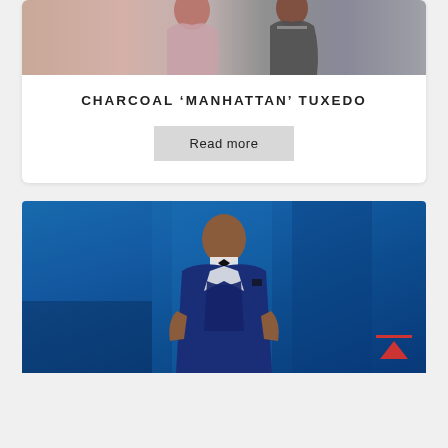[Figure (photo): Cropped top portion of a product card showing a couple in formal wear — woman in a pink/blush gown and man in a dark charcoal tuxedo — on a light background.]
CHARCOAL ‘MANHATTAN’ TUXEDO
Read more
[Figure (photo): A man in a navy blue three-piece tuxedo with bow tie standing against a blue painted wall background. A scroll-to-top arrow icon is visible in the lower right corner.]